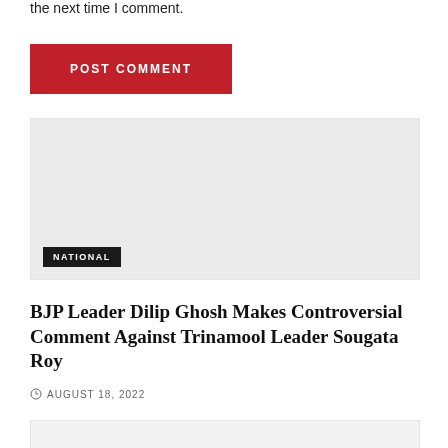the next time I comment.
POST COMMENT
[Figure (photo): Article card with light gray placeholder image and NATIONAL category badge at bottom left]
BJP Leader Dilip Ghosh Makes Controversial Comment Against Trinamool Leader Sougata Roy
AUGUST 18, 2022
[Figure (photo): Bottom article card, partially visible, light gray background]